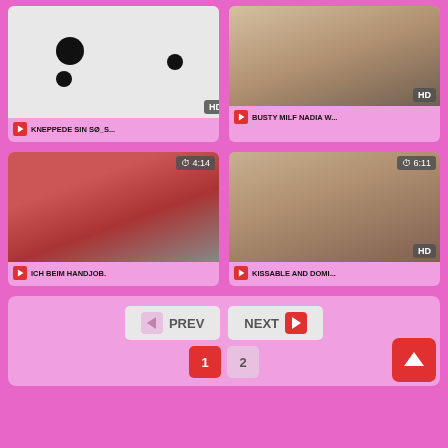[Figure (screenshot): Video thumbnail placeholder with circles on light background, HD badge, title KNEPPEDE SIN SØ_S...]
[Figure (screenshot): Video thumbnail showing person, HD badge, title BUSTY MILF NADIA W...]
[Figure (screenshot): Video thumbnail red background, duration 4:14, title ICH BEIM HANDJOB.]
[Figure (screenshot): Video thumbnail blonde person, duration 6:11, HD badge, title KISSABLE AND DOMI...]
PREV
NEXT
1
2